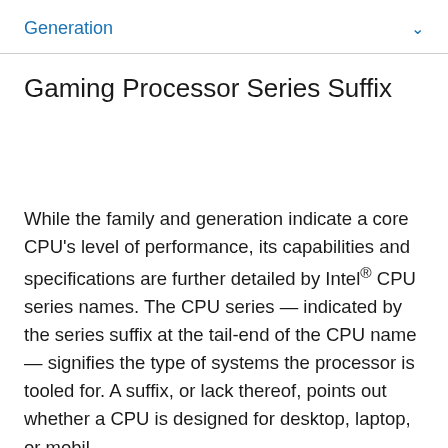Generation
Gaming Processor Series Suffix
While the family and generation indicate a core CPU's level of performance, its capabilities and specifications are further detailed by Intel® CPU series names. The CPU series — indicated by the series suffix at the tail-end of the CPU name — signifies the type of systems the processor is tooled for. A suffix, or lack thereof, points out whether a CPU is designed for desktop, laptop, or mobile…